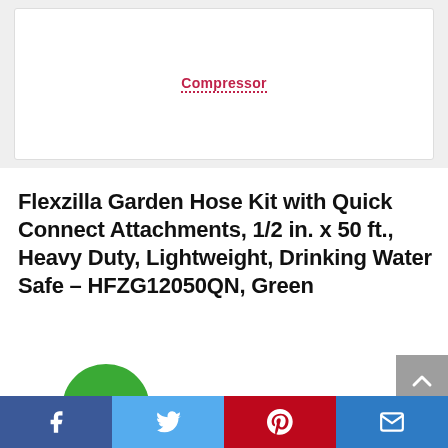[Figure (screenshot): Top card with dotted underlined red 'Compressor' link text on white background inside a light grey bordered container]
Flexzilla Garden Hose Kit with Quick Connect Attachments, 1/2 in. x 50 ft., Heavy Duty, Lightweight, Drinking Water Safe – HFZG12050QN, Green
[Figure (infographic): Green circular discount badge showing -22%]
[Figure (infographic): Grey scroll-to-top button with upward chevron arrow]
[Figure (infographic): Social sharing bar with Facebook, Twitter, Pinterest, and Email buttons]